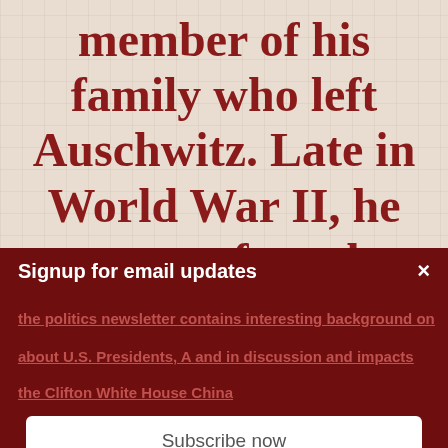member of his family who left Auschwitz. Late in World War II, he was transferred to Buchenwald, via a brutal 50-march through
Signup for email updates
the politics newsletter contains interesting background on
about U.S. Presidents, A and in discussion and impacts
the Clifton White House China
Subscribe now